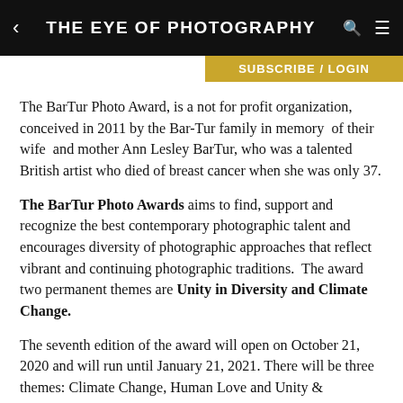THE EYE OF PHOTOGRAPHY
SUBSCRIBE / LOGIN
The BarTur Photo Award, is a not for profit organization, conceived in 2011 by the Bar-Tur family in memory of their wife and mother Ann Lesley BarTur, who was a talented British artist who died of breast cancer when she was only 37.
The BarTur Photo Awards aims to find, support and recognize the best contemporary photographic talent and encourages diversity of photographic approaches that reflect vibrant and continuing photographic traditions. The award two permanent themes are Unity in Diversity and Climate Change.
The seventh edition of the award will open on October 21, 2020 and will run until January 21, 2021. There will be three themes: Climate Change, Human Love and Unity & Diversity.